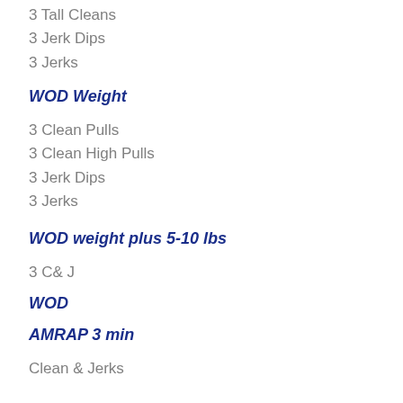3 Tall Cleans
3 Jerk Dips
3 Jerks
WOD Weight
3 Clean Pulls
3 Clean High Pulls
3 Jerk Dips
3 Jerks
WOD weight plus 5-10 lbs
3 C& J
WOD
AMRAP 3 min
Clean & Jerks